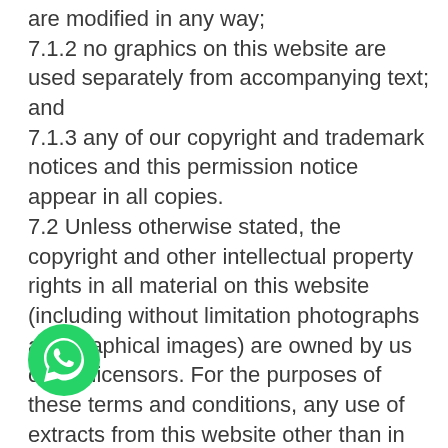are modified in any way; 7.1.2 no graphics on this website are used separately from accompanying text; and 7.1.3 any of our copyright and trademark notices and this permission notice appear in all copies. 7.2 Unless otherwise stated, the copyright and other intellectual property rights in all material on this website (including without limitation photographs and graphical images) are owned by us or our licensors. For the purposes of these terms and conditions, any use of extracts from this website other than in accordance with clause 7.1 above for any purpose is prohibited. If you breach any of the terms in these terms and conditions, your permission to use this website automatically terminates and you must immediately destroy any downloaded or printed extracts from this website. 7.3 Subject to clause 7.1, no part of this website may be reproduced or stored in any other website or
[Figure (other): WhatsApp chat button icon (green circle with white phone handset)]